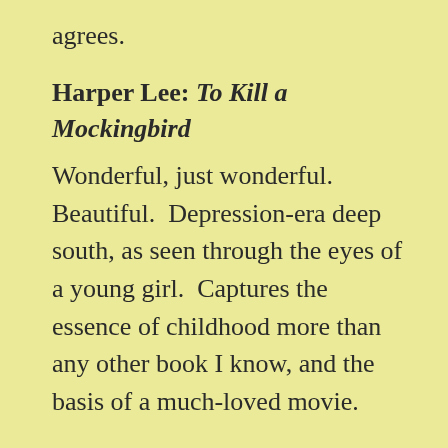agrees.
Harper Lee:  To Kill a Mockingbird
Wonderful, just wonderful.  Beautiful.  Depression-era deep south, as seen through the eyes of a young girl.  Captures the essence of childhood more than any other book I know, and the basis of a much-loved movie.